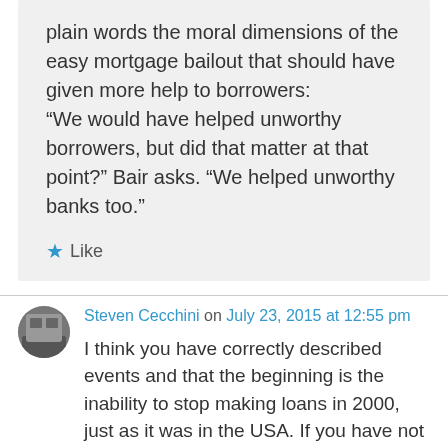plain words the moral dimensions of the easy mortgage bailout that should have given more help to borrowers: “We would have helped unworthy borrowers, but did that matter at that point?” Bair asks. “We helped unworthy banks too.”
Like
Steven Cecchini on July 23, 2015 at 12:55 pm
I think you have correctly described events and that the beginning is the inability to stop making loans in 2000, just as it was in the USA. If you have not read Tanta on calculated risk I think you would enjoy it.